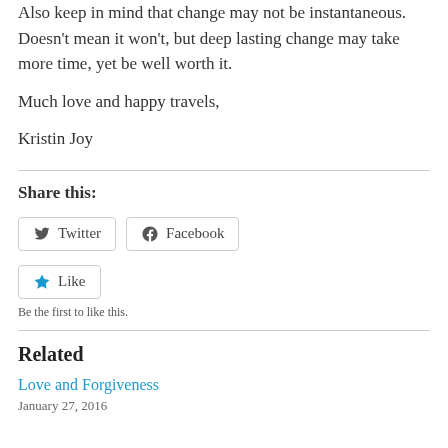Also keep in mind that change may not be instantaneous. Doesn't mean it won't, but deep lasting change may take more time, yet be well worth it.
Much love and happy travels,
Kristin Joy
Share this:
Twitter  Facebook
Like
Be the first to like this.
Related
Love and Forgiveness
January 27, 2016